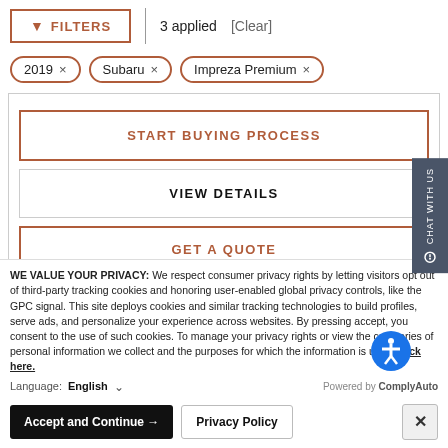FILTERS | 3 applied [Clear]
2019 ×
Subaru ×
Impreza Premium ×
START BUYING PROCESS
VIEW DETAILS
GET A QUOTE
CHAT WITH US
WE VALUE YOUR PRIVACY: We respect consumer privacy rights by letting visitors opt out of third-party tracking cookies and honoring user-enabled global privacy controls, like the GPC signal. This site deploys cookies and similar tracking technologies to build profiles, serve ads, and personalize your experience across websites. By pressing accept, you consent to the use of such cookies. To manage your privacy rights or view the categories of personal information we collect and the purposes for which the information is used, click here.
Language: English   Powered by ComplyAuto
Accept and Continue → Privacy Policy ×